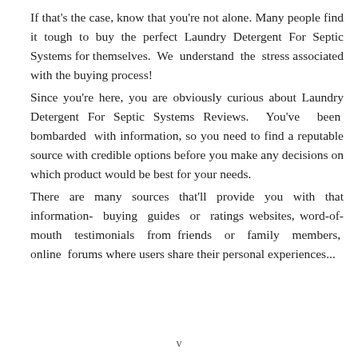If that's the case, know that you're not alone. Many people find it tough to buy the perfect Laundry Detergent For Septic Systems for themselves. We understand the stress associated with the buying process! Since you're here, you are obviously curious about Laundry Detergent For Septic Systems Reviews. You've been bombarded with information, so you need to find a reputable source with credible options before you make any decisions on which product would be best for your needs. There are many sources that'll provide you with that information- buying guides or ratings websites, word-of-mouth testimonials from friends or family members, online forums where users share their personal experiences...
v